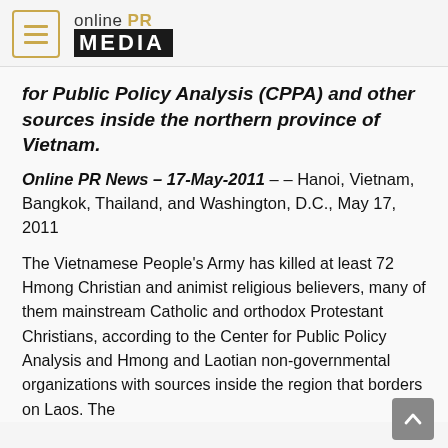[Figure (logo): Online PR Media logo with hamburger menu icon]
for Public Policy Analysis (CPPA) and other sources inside the northern province of Vietnam.
Online PR News – 17-May-2011 – – Hanoi, Vietnam, Bangkok, Thailand, and Washington, D.C., May 17, 2011
The Vietnamese People's Army has killed at least 72 Hmong Christian and animist religious believers, many of them mainstream Catholic and orthodox Protestant Christians, according to the Center for Public Policy Analysis and Hmong and Laotian non-governmental organizations with sources inside the region that borders on Laos. The